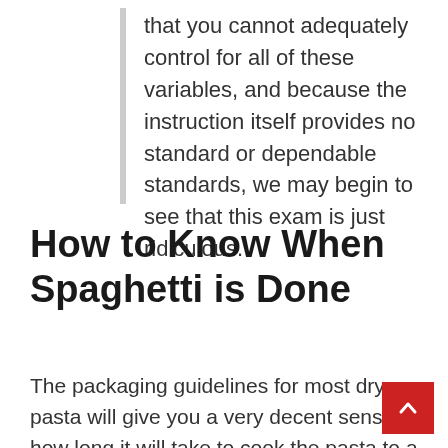that you cannot adequately control for all of these variables, and because the instruction itself provides no standard or dependable standards, we may begin to see that this exam is just ridiculous.
How to Know When Spaghetti is Done
The packaging guidelines for most dry pasta will give you a very decent sense of how long it will take to cook the pasta to a perfect al dente texture, but the only true way to determine whether the pasta is done is to taste a piece and see whether it is the right